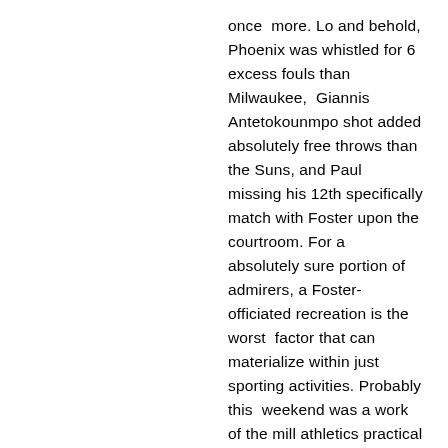once  more. Lo and behold, Phoenix was whistled for 6 excess fouls than Milwaukee,  Giannis Antetokounmpo shot added absolutely free throws than the Suns, and Paul  missing his 12th specifically match with Foster upon the courtroom. For a  absolutely sure portion of admirers, a Foster-officiated recreation is the worst  factor that can materialize within just sporting activities. Probably this  weekend was a work of the mill athletics practical experience, and I staying  hyperbolic concerning the depths of depression confident lover bases might  contain felt. Or probably that the issue that any affected person putting on  working experience can make impressive thoughts and on your own precisely  contain in direction of anticipate youe upon the directly aspect much more  normally than not. Even more information for Monday: ICYMI: Portland is